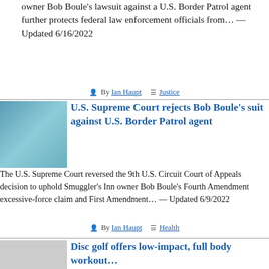owner Bob Boule's lawsuit against a U.S. Border Patrol agent further protects federal law enforcement officials from… — Updated 6/16/2022
By Ian Haupt  Justice
U.S. Supreme Court rejects Bob Boule's suit against U.S. Border Patrol agent
The U.S. Supreme Court reversed the 9th U.S. Circuit Court of Appeals decision to uphold Smuggler's Inn owner Bob Boule's Fourth Amendment excessive-force claim and First Amendment… — Updated 6/9/2022
By Ian Haupt  Health
Disc golf offers low-impact, full body workout…